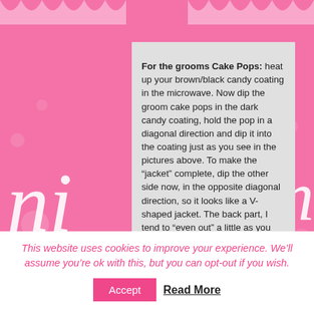[Figure (illustration): Pink decorative background with scallop top border, large italic white letters 'ni' on left and 'an' on right, decorative dots/circles, forming a wedding/baking blog layout]
For the grooms Cake Pops: heat up your brown/black candy coating in the microwave. Now dip the groom cake pops in the dark candy coating, hold the pop in a diagonal direction and dip it into the coating just as you see in the pictures above. To make the “jacket” complete, dip the other side now, in the opposite diagonal direction, so it looks like a V-shaped jacket. The back part, I tend to “even out” a little as you can see in step 8 of the picture. Follow these steps with all the groom Cake Pops, then place on wax paper to let dry completely.
This website uses cookies to improve your experience. We'll assume you're ok with this, but you can opt-out if you wish.